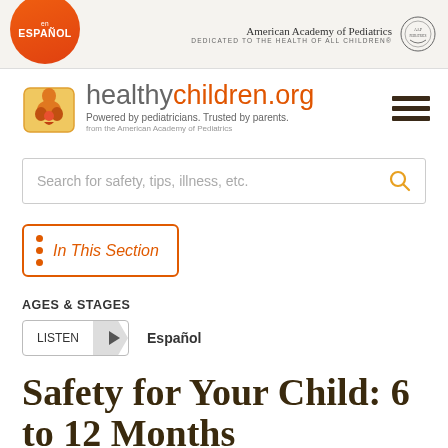en ESPAÑOL | American Academy of Pediatrics DEDICATED TO THE HEALTH OF ALL CHILDREN®
[Figure (logo): healthychildren.org logo — Powered by pediatricians. Trusted by parents. from the American Academy of Pediatrics]
Search for safety, tips, illness, etc.
In This Section
AGES & STAGES
LISTEN  Español
Safety for Your Child: 6 to 12 Months